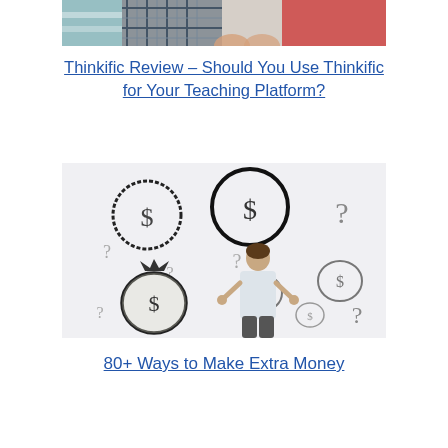[Figure (photo): Partial photo showing people sitting together, one in plaid shirt, another in red top, cropped at top]
Thinkific Review – Should You Use Thinkific for Your Teaching Platform?
[Figure (photo): Person standing facing a wall with drawn dollar sign money bags and question marks around them, black and white illustration style]
80+ Ways to Make Extra Money